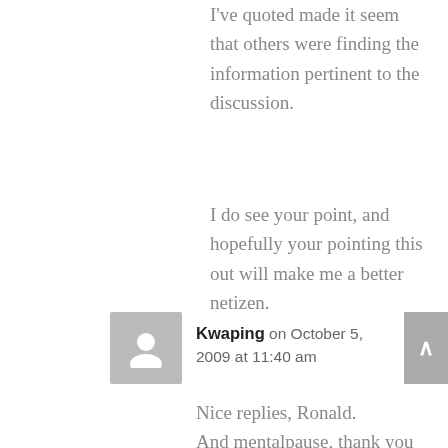I've quoted made it seem that others were finding the information pertinent to the discussion.
I do see your point, and hopefully your pointing this out will make me a better netizen.
Kwaping on October 5, 2009 at 11:40 am
Nice replies, Ronald.
And mentalpause, thank you very much for posting your story. It is similar to my